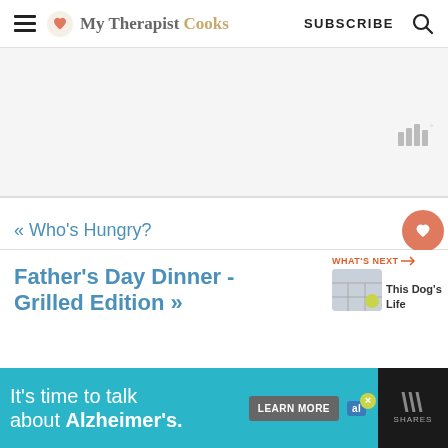My Therapist Cooks — SUBSCRIBE
[Figure (screenshot): Gray advertisement placeholder area with Mediavine icon in top right]
« Who's Hungry?
Father's Day Dinner - Grilled Edition »
[Figure (other): WHAT'S NEXT arrow: This Dog's Life thumbnail]
It's time to talk about Alzheimer's. LEARN MORE